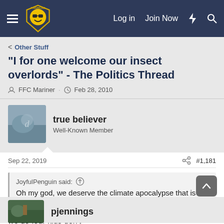Log in  Join Now
< Other Stuff
"I for one welcome our insect overlords" - The Politics Thread
FFC Mariner · Feb 28, 2010
true believer
Well-Known Member
Sep 22, 2019  #1,181
JoyfulPenguin said:
Oh my god, we deserve the climate apocalypse that is coming.
we do .our kids don't
pjennings